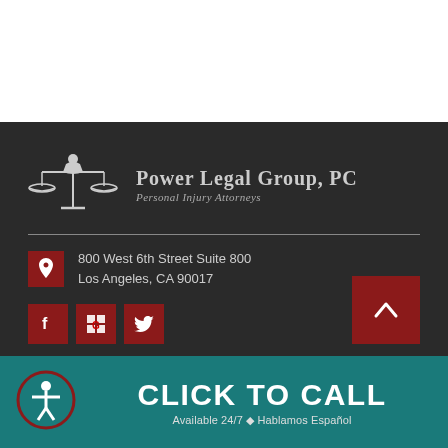[Figure (logo): Power Legal Group, PC logo with scales of justice icon and text 'Power Legal Group, PC Personal Injury Attorneys' on dark background]
800 West 6th Street Suite 800
Los Angeles, CA 90017
[Figure (infographic): Social media icons: Facebook, Google, Twitter in dark red boxes]
CLICK TO CALL
Available 24/7 ◆ Hablamos Español